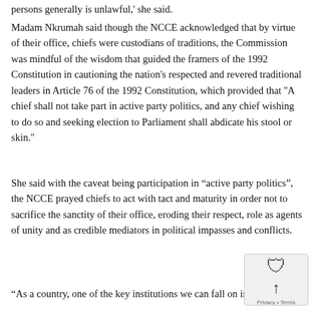persons generally is unlawful,' she said.
Madam Nkrumah said though the NCCE acknowledged that by virtue of their office, chiefs were custodians of traditions, the Commission was mindful of the wisdom that guided the framers of the 1992 Constitution in cautioning the nation's respected and revered traditional leaders in Article 76 of the 1992 Constitution, which provided that ''A chief shall not take part in active party politics, and any chief wishing to do so and seeking election to Parliament shall abdicate his stool or skin.''
She said with the caveat being participation in “active party politics”, the NCCE prayed chiefs to act with tact and maturity in order not to sacrifice the sanctity of their office, eroding their respect, role as agents of unity and as credible mediators in political impasses and conflicts.
“As a country, one of the key institutions we can fall on in times